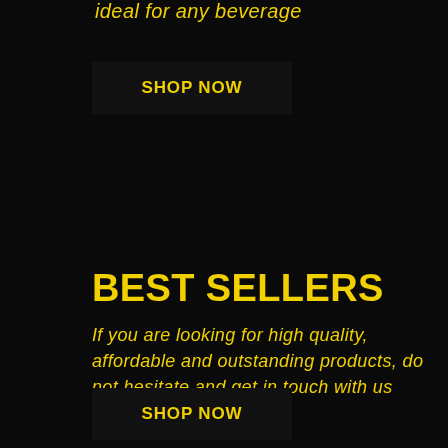ideal for any beverage
SHOP NOW
BEST SELLERS
If you are looking for high quality, affordable and outstanding products, do not hesitate and get in touch with us right now
SHOP NOW